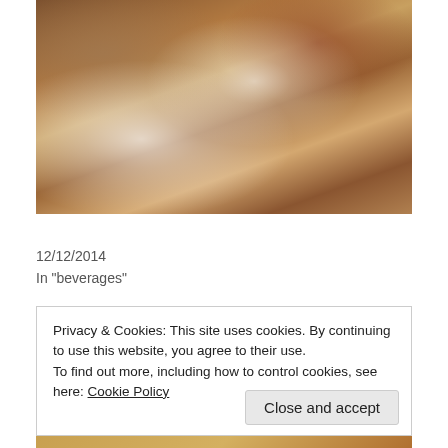[Figure (photo): Overhead view of two white mugs of hot chocolate topped with whipped cream and cinnamon, surrounded by chocolate truffles on a wooden tray with a red edge and pearl beads]
Mexican dark hot chocolate
12/12/2014
In "beverages"
[Figure (photo): Partial view of a food item below]
Privacy & Cookies: This site uses cookies. By continuing to use this website, you agree to their use.
To find out more, including how to control cookies, see here: Cookie Policy
Close and accept